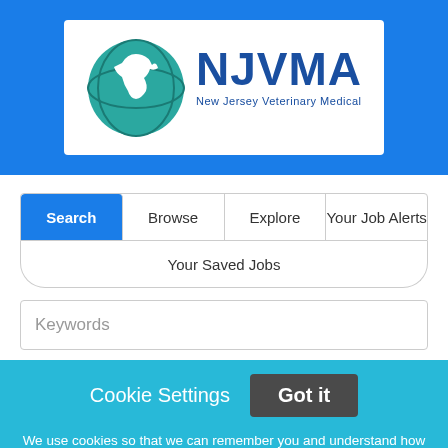[Figure (logo): NJVMA - New Jersey Veterinary Medical Association logo with a horse head icon in a circular green/teal globe design]
Search | Browse | Explore | Your Job Alerts
Your Saved Jobs
Keywords
Cookie Settings
Got it
We use cookies so that we can remember you and understand how you use our site. If you do not agree with our use of cookies, please change the current settings found in our Cookie Policy. Otherwise, you agree to the use of the cookies as they are currently set.